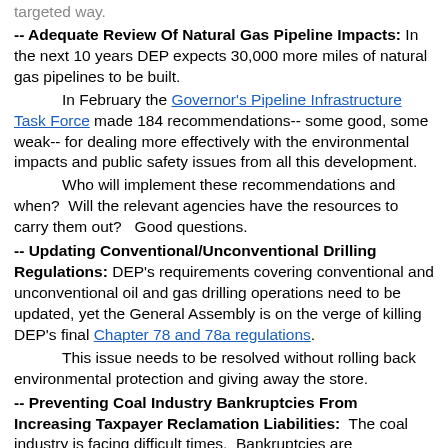targeted way.
-- Adequate Review Of Natural Gas Pipeline Impacts: In the next 10 years DEP expects 30,000 more miles of natural gas pipelines to be built.

In February the Governor's Pipeline Infrastructure Task Force made 184 recommendations-- some good, some weak-- for dealing more effectively with the environmental impacts and public safety issues from all this development.

Who will implement these recommendations and when? Will the relevant agencies have the resources to carry them out? Good questions.
-- Updating Conventional/Unconventional Drilling Regulations: DEP's requirements covering conventional and unconventional oil and gas drilling operations need to be updated, yet the General Assembly is on the verge of killing DEP's final Chapter 78 and 78a regulations.

This issue needs to be resolved without rolling back environmental protection and giving away the store.
-- Preventing Coal Industry Bankruptcies From Increasing Taxpayer Reclamation Liabilities: The coal industry is facing difficult times. Bankruptcies are increasing. The likelihood of taxpayers again being stuck with the cost of reclaiming mine lands and permanently treating any mine discharges is increasing.